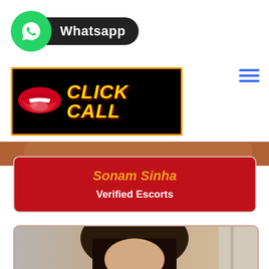[Figure (logo): WhatsApp green circle logo with white phone icon and black pill-shaped label reading 'Whatsapp']
[Figure (logo): Black banner with orange border showing red lips icon on left and yellow bold italic text 'CLICK CALL']
[Figure (photo): Hamburger menu icon with three blue horizontal lines, top right corner]
[Figure (photo): Partial photo of a person, warm toned, appears at top boundary]
Sonam Sinha
Verified Escorts
[Figure (photo): Photo of a dark-haired young woman looking down, partially visible in lower section]